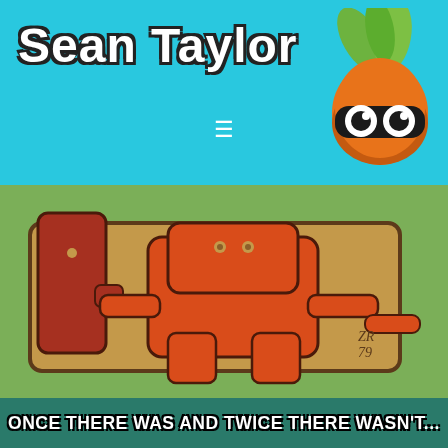Sean Taylor
[Figure (logo): Cartoon carrot character logo with googly eyes and green leaf top, used as site logo for Sean Taylor]
[Figure (illustration): Folk art / pre-Columbian style painting on green background showing stylized animal/human figures in orange and brown tones, signed ZR 79]
ONCE THERE WAS AND TWICE THERE WASN'T...